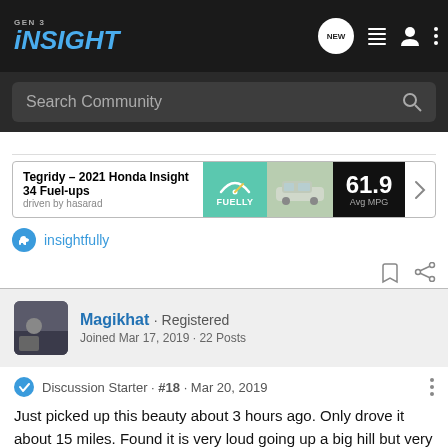GEN 3 INSIGHT — Navigation bar with search
[Figure (screenshot): Fuelly card showing Tegridy - 2021 Honda Insight, 34 Fuel-ups, driven by hasarad, with Fuelly logo, car photo, and 61.9 Avg MPG]
insightfully
Magikhat · Registered
Joined Mar 17, 2019 · 22 Posts
Discussion Starter · #18 · Mar 20, 2019
Just picked up this beauty about 3 hours ago. Only drove it about 15 miles. Found it is very loud going up a big hill but very